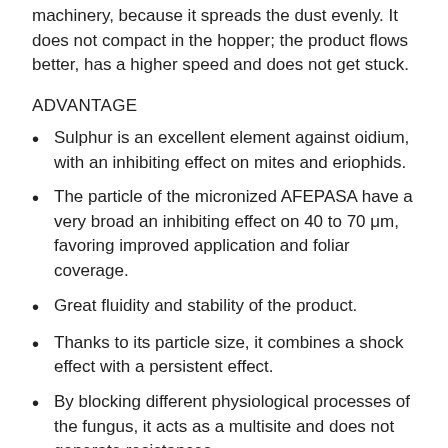machinery, because it spreads the dust evenly. It does not compact in the hopper; the product flows better, has a higher speed and does not get stuck.
ADVANTAGE
Sulphur is an excellent element against oidium, with an inhibiting effect on mites and eriophids.
The particle of the micronized AFEPASA have a very broad an inhibiting effect on 40 to 70 μm, favoring improved application and foliar coverage.
Great fluidity and stability of the product.
Thanks to its particle size, it combines a shock effect with a persistent effect.
By blocking different physiological processes of the fungus, it acts as a multisite and does not generate resistances.